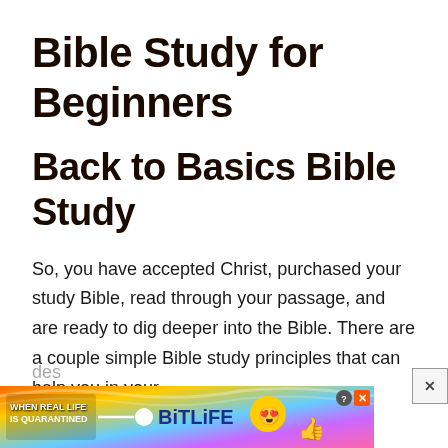Bible Study for Beginners
Back to Basics Bible Study
So, you have accepted Christ, purchased your study Bible, read through your passage, and are ready to dig deeper into the Bible. There are a couple simple Bible study principles that can help you in your des…
[Figure (screenshot): Advertisement banner for BitLife mobile game featuring rainbow background, text 'WHEN REAL LIFE IS QUARANTINED', BitLife logo, emoji characters with masks, and close/help buttons]